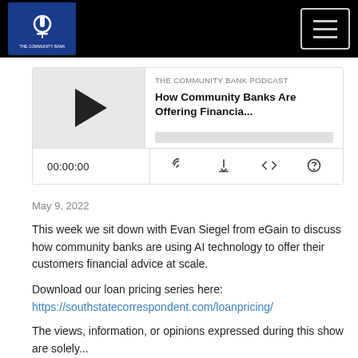THE COMMUNITY BANK PODCAST — navigation header with logo and hamburger menu
[Figure (screenshot): Podcast player widget showing play button thumbnail, podcast title 'How Community Banks Are Offering Financia...', progress bar, timer '00:00:00', and control icons (cast, download, embed, share)]
May 9, 2022
This week we sit down with Evan Siegel from eGain to discuss how community banks are using AI technology to offer their customers financial advice at scale.
Download our loan pricing series here:
https://southstatecorrespondent.com/loanpricing/
The views, information, or opinions expressed during this show are solely...
Read More